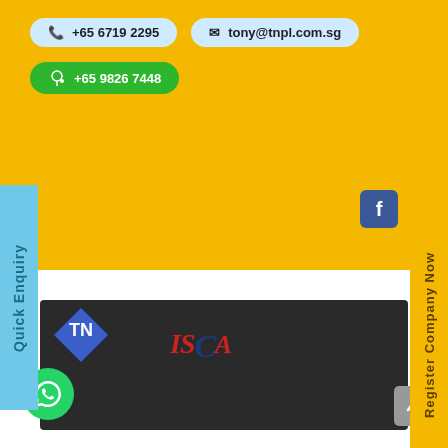+65 6719 2295
tony@tnpl.com.sg
+65 9826 7448
[Figure (logo): Facebook icon - blue square with white f]
Quick Enquiry
Register Company Now
[Figure (logo): TN Chartered Accountants diamond logo with ISCA branding on dark background]
[Figure (logo): WhatsApp floating button - green circle with white chat icon]
[Figure (other): Scroll to top button - grey rounded square with upward arrow]